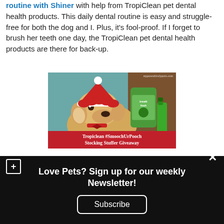routine with Shiner with help from TropiClean pet dental health products. This daily dental routine is easy and struggle-free for both the dog and I. Plus, it's fool-proof. If I forget to brush her teeth one day, the TropiClean pet dental health products are there for back-up.
[Figure (photo): A golden/yellow Labrador dog wearing a red Santa hat, next to TropiClean breath care products. Red banner at bottom reads: 'Tropiclean #SmoochUrPooch Stocking Stuffer Giveaway'. Watermark: mypawsitivelypets.com]
Love Pets? Sign up for our weekly Newsletter!
Subscribe